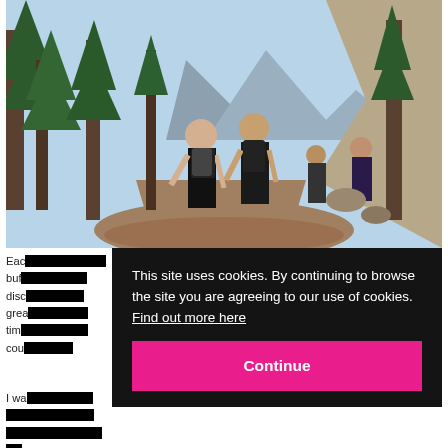[Figure (photo): Group of hikers walking along a mountain trail through pine forest with rocky peaks visible in background, seen from behind, carrying backpacks.]
Each [day includes a] buffet lunch [with] discover[ies]... great walk[s] from the [mountain] area, [with] time [spent exploring the] countryside...
I was delighted to take the cable car back down and find the [hotel has a...]
This site uses cookies. By continuing to browse the site you are agreeing to our use of cookies.  Find out more here
Continue